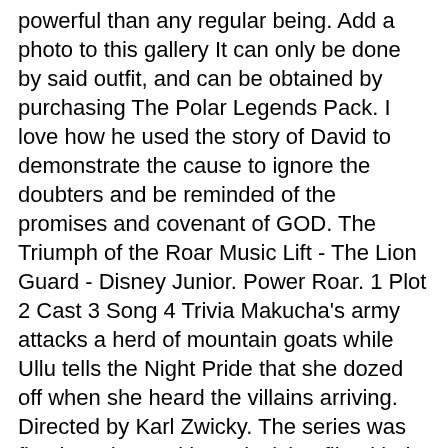powerful than any regular being. Add a photo to this gallery It can only be done by said outfit, and can be obtained by purchasing The Polar Legends Pack. I love how he used the story of David to demonstrate the cause to ignore the doubters and be reminded of the promises and covenant of GOD. The Triumph of the Roar Music Lift - The Lion Guard - Disney Junior. Power Roar. 1 Plot 2 Cast 3 Song 4 Trivia Makucha's army attacks a herd of mountain goats while Ullu tells the Night Pride that she dozed off when she heard the villains arriving. Directed by Karl Zwicky. The series was first broadcast with a television film titled The Lion Guard: Return of the Roar on Disney Channel on November 22, 2015, and began airing as a TV series on January 15, 2016, on Disney Junior. Unleash the power of the roar of the elders with Kion in this action-packed, read-along storybook that features the actual character voices and sound effects from the episode! Roar of the Red Ranger1 is the fifth episode of Power Rangers Dino Super Charge. Had a $50,000 money gain without doing any work for it. Tyler attempts to master the new T-